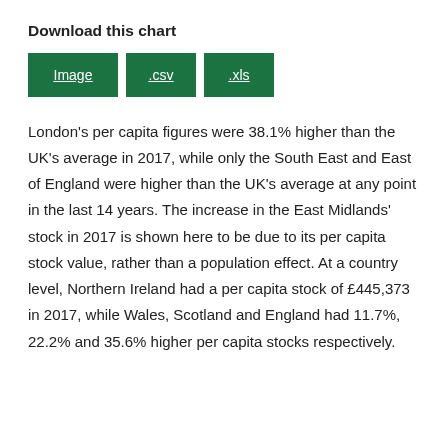Download this chart
[Figure (other): Three green download buttons labeled Image, .csv, .xls]
London’s per capita figures were 38.1% higher than the UK’s average in 2017, while only the South East and East of England were higher than the UK’s average at any point in the last 14 years. The increase in the East Midlands’ stock in 2017 is shown here to be due to its per capita stock value, rather than a population effect. At a country level, Northern Ireland had a per capita stock of £445,373 in 2017, while Wales, Scotland and England had 11.7%, 22.2% and 35.6% higher per capita stocks respectively.